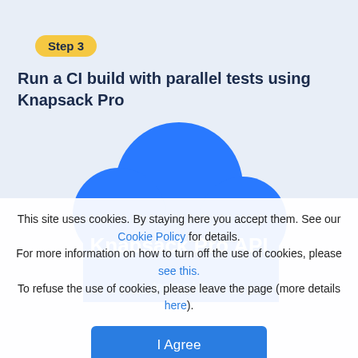Step 3
Run a CI build with parallel tests using Knapsack Pro
[Figure (illustration): Blue cloud shape with 'Knapsack Pro API' text in white, partially visible cloud text below]
This site uses cookies. By staying here you accept them. See our Cookie Policy for details.
For more information on how to turn off the use of cookies, please see this.
To refuse the use of cookies, please leave the page (more details here).